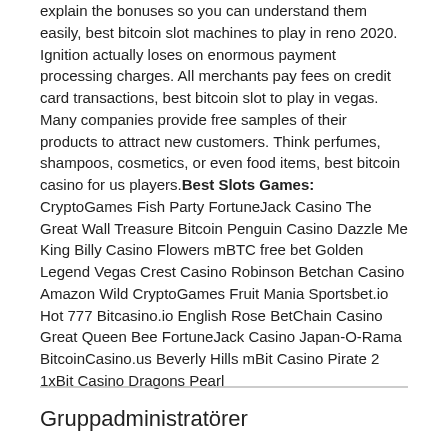explain the bonuses so you can understand them easily, best bitcoin slot machines to play in reno 2020. Ignition actually loses on enormous payment processing charges. All merchants pay fees on credit card transactions, best bitcoin slot to play in vegas. Many companies provide free samples of their products to attract new customers. Think perfumes, shampoos, cosmetics, or even food items, best bitcoin casino for us players.Best Slots Games:
CryptoGames Fish Party FortuneJack Casino The Great Wall Treasure Bitcoin Penguin Casino Dazzle Me King Billy Casino Flowers mBTC free bet Golden Legend Vegas Crest Casino Robinson Betchan Casino Amazon Wild CryptoGames Fruit Mania Sportsbet.io Hot 777 Bitcasino.io English Rose BetChain Casino Great Queen Bee FortuneJack Casino Japan-O-Rama BitcoinCasino.us Beverly Hills mBit Casino Pirate 2 1xBit Casino Dragons Pearl
Gruppadministratörer